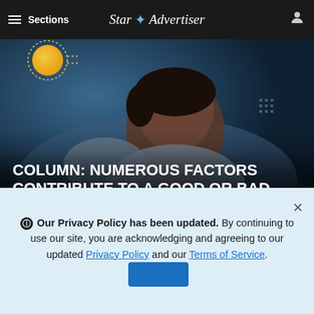≡ Sections    Star ✦ Advertiser
[Figure (photo): A person sleeping on a pillow, photographed in blue tones with moon/night imagery, overlaid with bold white uppercase headline text.]
COLUMN: NUMEROUS FACTORS CONTRIBUTE TO A GOOD OR BAD NIGHT'S SLUMBER
Advertisement
[Figure (photo): Hawaii.com advertisement banner showing the text 'Hawaii.com DISCOVER' over a green tropical waterfall background.]
Our Privacy Policy has been updated. By continuing to use our site, you are acknowledging and agreeing to our updated Privacy Policy and our Terms of Service. I Agree